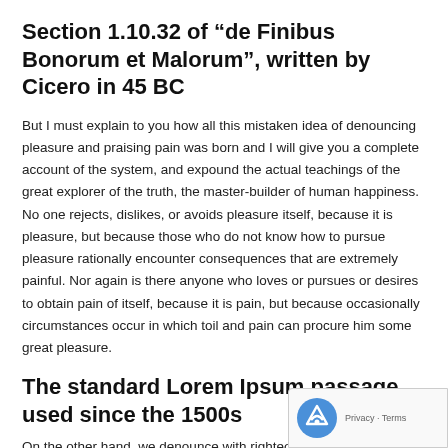Section 1.10.32 of “de Finibus Bonorum et Malorum”, written by Cicero in 45 BC
But I must explain to you how all this mistaken idea of denouncing pleasure and praising pain was born and I will give you a complete account of the system, and expound the actual teachings of the great explorer of the truth, the master-builder of human happiness. No one rejects, dislikes, or avoids pleasure itself, because it is pleasure, but because those who do not know how to pursue pleasure rationally encounter consequences that are extremely painful. Nor again is there anyone who loves or pursues or desires to obtain pain of itself, because it is pain, but because occasionally circumstances occur in which toil and pain can procure him some great pleasure.
The standard Lorem Ipsum passage used since the 1500s
On the other hand, we denounce with righteous indign… and dislike men who are so beguiled and demoralized by the